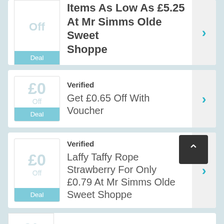[Figure (screenshot): Partial deal card at top: £0 Off Deal badge, deal title partially visible 'Items As Low As £5.25 At Mr Simms Olde Sweet Shoppe' with teal chevron arrow]
Verified
Get £0.65 Off With Voucher
Verified
Laffy Taffy Rope Strawberry For Only £0.79 At Mr Simms Olde Sweet Shoppe
Verified